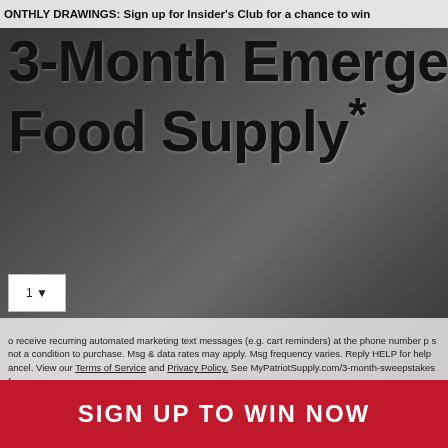ONTHLY DRAWINGS: Sign up for Insider's Club for a chance to win
3-Month Emergency Food Supply*
o receive recurring automated marketing text messages (e.g. cart reminders) at the phone number p... is not a condition to purchase. Msg & data rates may apply. Msg frequency varies. Reply HELP for help... ancel. View our Terms of Service and Privacy Policy. See MyPatriotSupply.com/3-month-sweepstakes fo...
SIGN UP TO WIN NOW